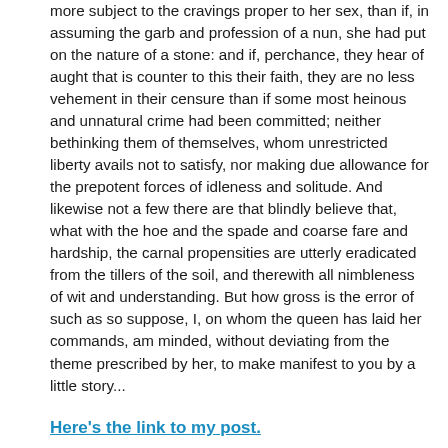more subject to the cravings proper to her sex, than if, in assuming the garb and profession of a nun, she had put on the nature of a stone: and if, perchance, they hear of aught that is counter to this their faith, they are no less vehement in their censure than if some most heinous and unnatural crime had been committed; neither bethinking them of themselves, whom unrestricted liberty avails not to satisfy, nor making due allowance for the prepotent forces of idleness and solitude. And likewise not a few there are that blindly believe that, what with the hoe and the spade and coarse fare and hardship, the carnal propensities are utterly eradicated from the tillers of the soil, and therewith all nimbleness of wit and understanding. But how gross is the error of such as so suppose, I, on whom the queen has laid her commands, am minded, without deviating from the theme prescribed by her, to make manifest to you by a little story...
Here's the link to my post.